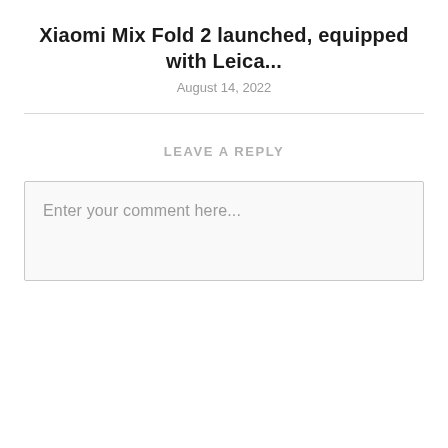Xiaomi Mix Fold 2 launched, equipped with Leica...
August 14, 2022
LEAVE A REPLY
Enter your comment here...